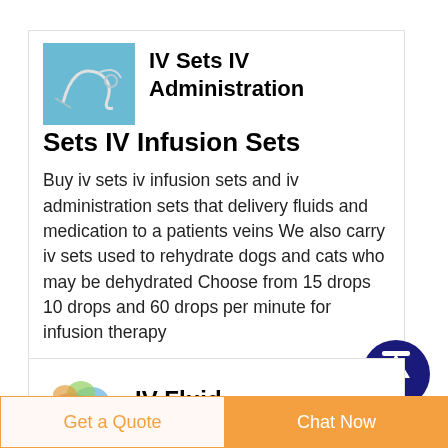[Figure (photo): Photo of IV set / infusion tubing on light blue background]
IV Sets IV Administration Sets IV Infusion Sets
Buy iv sets iv infusion sets and iv administration sets that delivery fluids and medication to a patients veins We also carry iv sets used to rehydrate dogs and cats who may be dehydrated Choose from 15 drops 10 drops and 60 drops per minute for infusion therapy
[Figure (illustration): Dark navy blue circular scroll-to-top button with upward arrow icon]
[Figure (photo): Colorful IV fluid bag / medical product image]
IV Fluid